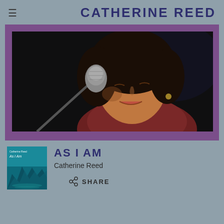CATHERINE REED
[Figure (photo): Close-up photo of a woman (Catherine Reed) singing into a microphone on a dark stage, with dark hair, performing live. Photo is framed with a purple border.]
[Figure (photo): Album cover thumbnail for 'As I Am' by Catherine Reed, showing a teal/turquoise mountain landscape underwater scene.]
AS I AM
Catherine Reed
SHARE